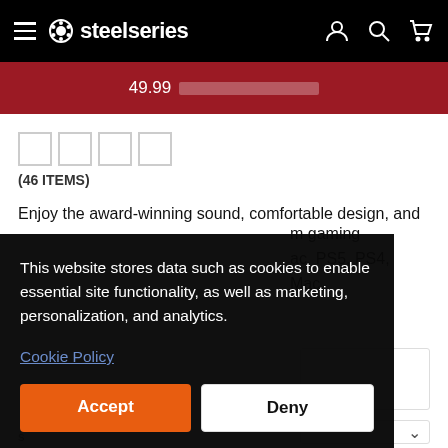steelseries — navigation bar with hamburger menu, logo, account, search, and cart icons
49.99 [redacted promotional text]
[Figure (other): Four empty star/rating boxes]
(46 ITEMS)
Enjoy the award-winning sound, comfortable design, and ... m gaming ... ac, PS5, PS4, ... Mac,
This website stores data such as cookies to enable essential site functionality, as well as marketing, personalization, and analytics.
Cookie Policy
Accept
Deny